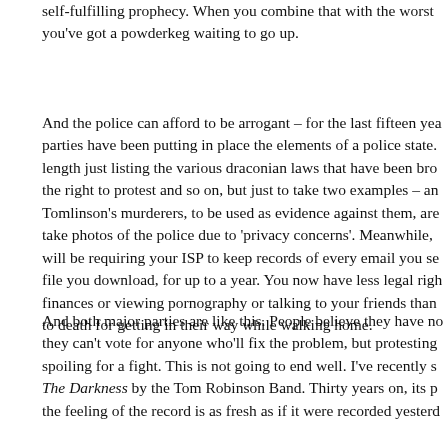self-fulfilling prophecy. When you combine that with the worst you've got a powderkeg waiting to go up.
And the police can afford to be arrogant – for the last fifteen years both parties have been putting in place the elements of a police state. I could go at length just listing the various draconian laws that have been brought in to limit the right to protest and so on, but just to take two examples – any videos of Tomlinson's murderers, to be used as evidence against them, are now illegal to take photos of the police due to 'privacy concerns'. Meanwhile, the government will be requiring your ISP to keep records of every email you send and every file you download, for up to a year. You now have less legal rights discussing your finances or viewing pornography or talking to your friends than a man can be beaten to death for getting in their way while walking home.
And both major parties are like this. People believe they have no options – they can't vote for anyone who'll fix the problem, but protesting just ends up spoiling for a fight. This is not going to end well. I've recently started listening to The Darkness by the Tom Robinson Band. Thirty years on, its p the feeling of the record is as fresh as if it were recorded yesterd